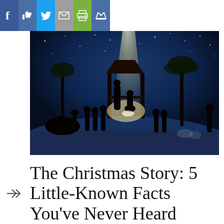[Figure (screenshot): Social media sharing toolbar with Facebook, Like, Twitter, Email, Print, and Crown/Save buttons]
[Figure (illustration): Nativity scene silhouette against a blue starry night sky with a bright light shining on a manger, camels, wise men, shepherds, and animals]
The Christmas Story: 5 Little-Known Facts You’ve Never Heard Regarding “The Rest of the Story” of the Manger